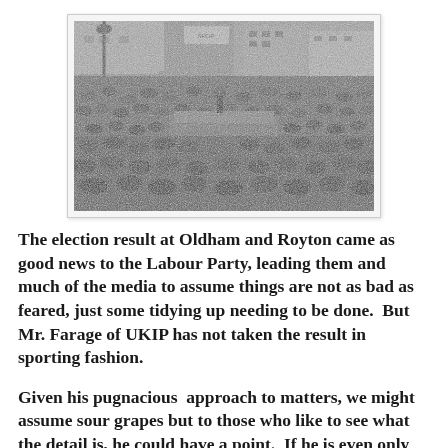[Figure (photo): Black and white historical photograph of a large crowd gathered in a street, with a speaker standing on a raised platform addressing the audience. Buildings and a street lamp visible in the background.]
The election result at Oldham and Royton came as good news to the Labour Party, leading them and much of the media to assume things are not as bad as feared, just some tidying up needing to be done.  But Mr. Farage of UKIP has not taken the result in sporting fashion.
Given his pugnacious  approach to matters, we might assume sour grapes but to those who like to see what the detail is, he could have a point.  If he is even only